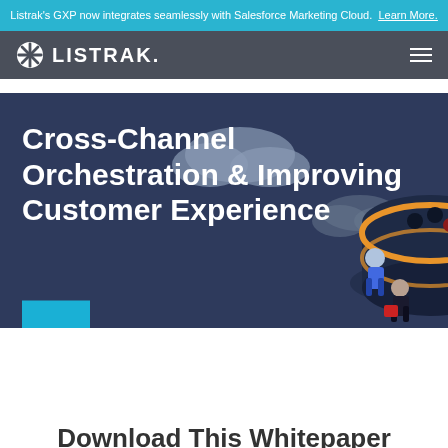Listrak's GXP now integrates seamlessly with Salesforce Marketing Cloud. Learn More.
[Figure (logo): Listrak logo with snowflake icon and LISTRAK. wordmark on dark gray navigation bar]
[Figure (illustration): Hero banner with dark blue background showing an isometric illustration of a cylindrical database/server with small human figures working around it, clouds in background]
Cross-Channel Orchestration & Improving Customer Experience
Download This Whitepaper